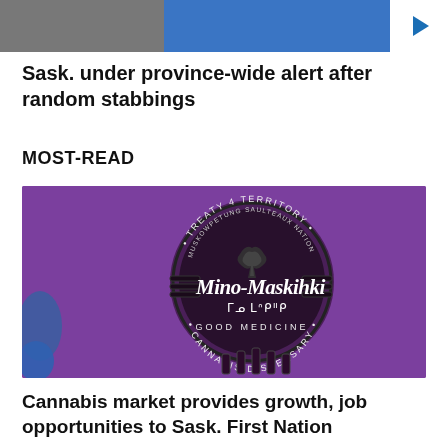[Figure (photo): Two people side by side — left person in grey/dark background, right person in blue shirt. A play button triangle appears to the right.]
Sask. under province-wide alert after random stabbings
MOST-READ
[Figure (logo): Mino-Maskihki cannabis dispensary logo on purple background. Circular logo with text: TREATY 4 TERRITORY, MUSKOWPETUNG SAULTEAUX NATION, Mino-Maskihki (in script), syllabics text, GOOD MEDICINE, CANNABIS DISPENSARY. Decorative zia-style symbol in background.]
Cannabis market provides growth, job opportunities to Sask. First Nation